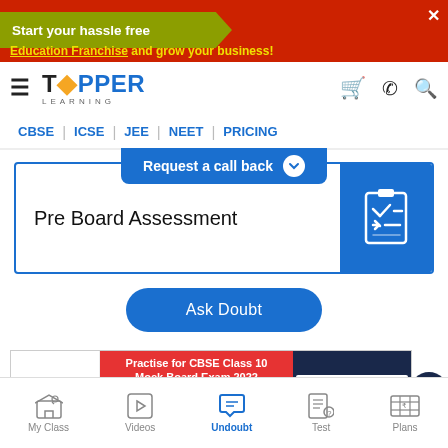[Figure (screenshot): Top advertisement banner for Education Franchise with yellow and red background, showing 'Start your hassle free' text in arrow shape and 'Education Franchise and grow your business!' subtitle]
[Figure (logo): Topper Learning logo with hamburger menu icon, shopping cart, phone, and search icons in navigation bar]
CBSE | ICSE | JEE | NEET | PRICING
Request a call back
Pre Board Assessment
Ask Doubt
[Figure (screenshot): Advertisement for Practise for CBSE Class 10 Mock Board Exam 2022 FREE with TAKE THE TEST button]
My Class | Videos | Undoubt | Test | Plans